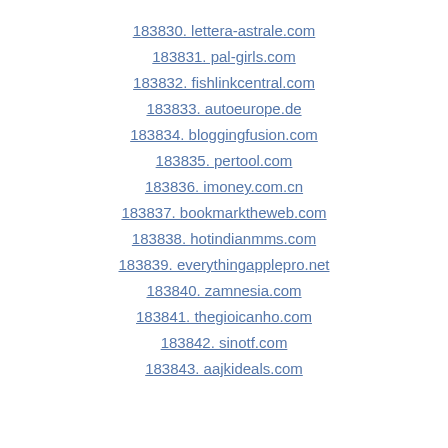183830. lettera-astrale.com
183831. pal-girls.com
183832. fishlinkcentral.com
183833. autoeurope.de
183834. bloggingfusion.com
183835. pertool.com
183836. imoney.com.cn
183837. bookmarktheweb.com
183838. hotindianmms.com
183839. everythingapplepro.net
183840. zamnesia.com
183841. thegioicanho.com
183842. sinotf.com
183843. aajkideals.com